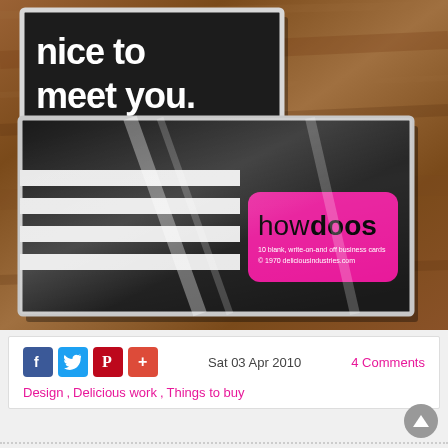[Figure (photo): Two packaged boxes on a wooden table. The top box has a black background with white bold text reading 'nice to meet you.' The bottom box is also black with white horizontal stripes and a bright pink rounded label reading 'howdoos' with smaller text about blank pre-printed business cards and a copyright notice for deliciousindustries.com. Both boxes appear to be wrapped in clear cellophane.]
Sat 03 Apr 2010
4 Comments
Design , Delicious work , Things to buy